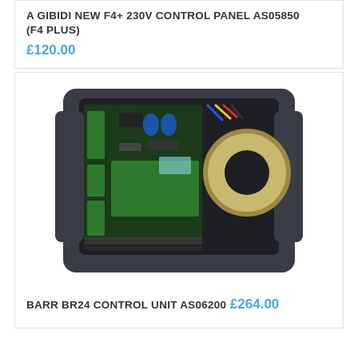A GIBIDI NEW F4+ 230V CONTROL PANEL AS05850 (F4 PLUS)
£120.00
[Figure (photo): Photo of BARR BR24 control unit AS06200, showing an open black enclosure with PCBs, green terminal blocks, capacitors, and a toroidal transformer inside.]
BARR BR24 CONTROL UNIT AS06200
£264.00